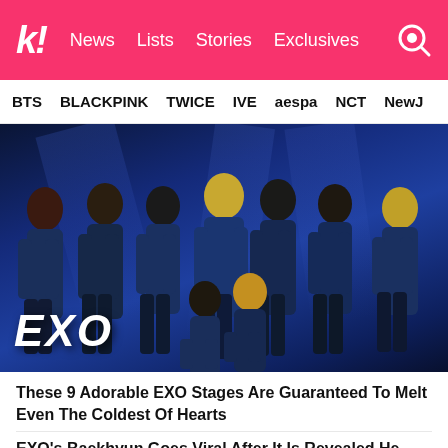k! News Lists Stories Exclusives
BTS BLACKPINK TWICE IVE aespa NCT NewJ
[Figure (photo): Group photo of EXO members performing on stage, wearing dark blue velvet suits, with blue stage lighting behind them. The word EXO appears in white italic bold text at the bottom left.]
These 9 Adorable EXO Stages Are Guaranteed To Melt Even The Coldest Of Hearts
EXO's Baekhyun Goes Viral After It Is Revealed He Had